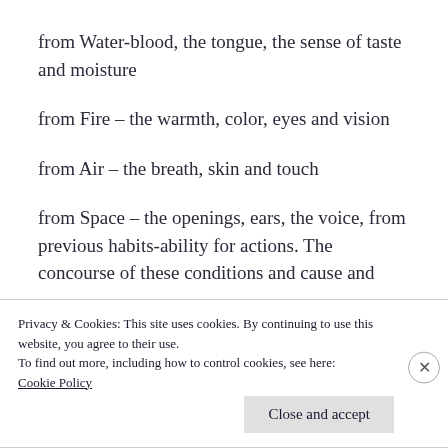from Water-blood, the tongue, the sense of taste and moisture
from Fire – the warmth, color, eyes and vision
from Air – the breath, skin and touch
from Space – the openings, ears, the voice, from previous habits-ability for actions. The concourse of these conditions and cause and
Privacy & Cookies: This site uses cookies. By continuing to use this website, you agree to their use.
To find out more, including how to control cookies, see here:
Cookie Policy
Close and accept